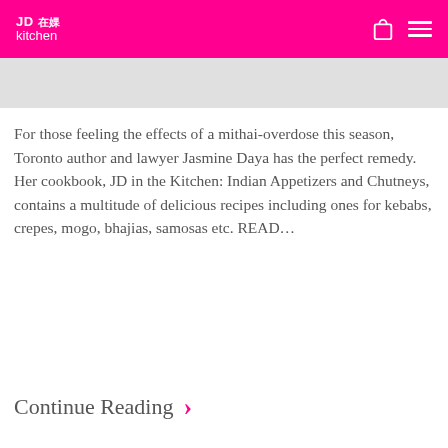JD in the kitchen
For those feeling the effects of a mithai-overdose this season, Toronto author and lawyer Jasmine Daya has the perfect remedy. Her cookbook, JD in the Kitchen: Indian Appetizers and Chutneys,  contains a multitude of delicious recipes including ones for kebabs, crepes, mogo, bhajias, samosas etc. READ...
Continue Reading >